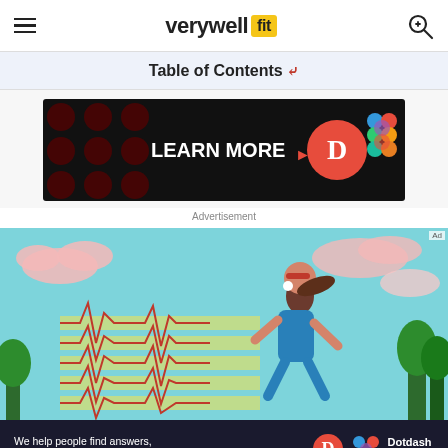verywell fit
Table of Contents
[Figure (screenshot): Advertisement banner showing 'LEARN MORE' text with Dotdash Meredith logos on black background]
Advertisement
[Figure (illustration): Illustration of a woman running with heartbeat/EKG lines overlaid, teal sky background with pink clouds and trees]
[Figure (screenshot): Bottom advertisement bar: 'We help people find answers, solve problems and get inspired.' with Dotdash Meredith logo]